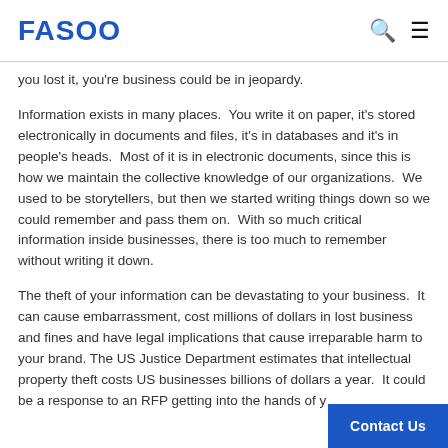FASOO
you lost it, you're business could be in jeopardy.
Information exists in many places.  You write it on paper, it's stored electronically in documents and files, it's in databases and it's in people's heads.  Most of it is in electronic documents, since this is how we maintain the collective knowledge of our organizations.  We used to be storytellers, but then we started writing things down so we could remember and pass them on.  With so much critical information inside businesses, there is too much to remember without writing it down.
The theft of your information can be devastating to your business.  It can cause embarrassment, cost millions of dollars in lost business and fines and have legal implications that cause irreparable harm to your brand. The US Justice Department estimates that intellectual property theft costs US businesses billions of dollars a year.  It could be a response to an RFP getting into the hands of your competitor or as big as losing the secret formula to Coca-Cola